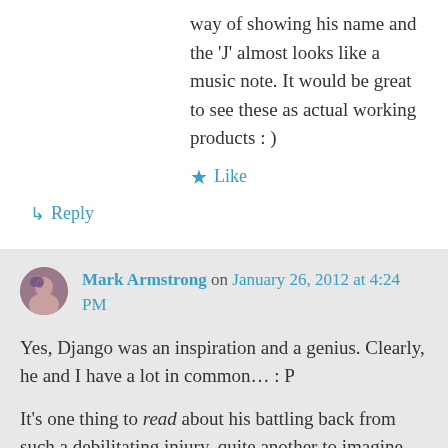way of showing his name and the 'J' almost looks like a music note. It would be great to see these as actual working products : )
★ Like
↳ Reply
Mark Armstrong on January 26, 2012 at 4:24 PM
Yes, Django was an inspiration and a genius. Clearly, he and I have a lot in common… : P
It's one thing to read about his battling back from such a debilitating injury, quite another to imagine the time, effort, and force of will…